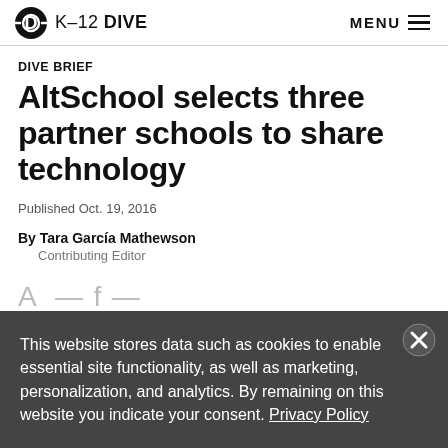K-12 DIVE  MENU
DIVE BRIEF
AltSchool selects three partner schools to share technology
Published Oct. 19, 2016
By Tara García Mathewson
    Contributing Editor
This website stores data such as cookies to enable essential site functionality, as well as marketing, personalization, and analytics. By remaining on this website you indicate your consent. Privacy Policy